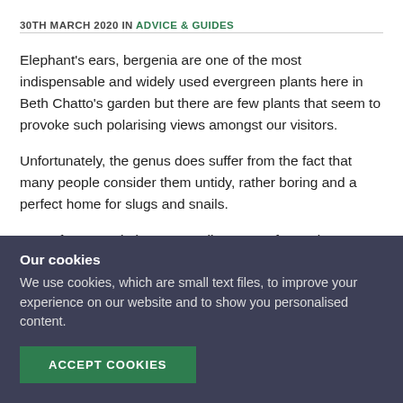30TH MARCH 2020 IN ADVICE & GUIDES
Elephant's ears, bergenia are one of the most indispensable and widely used evergreen plants here in Beth Chatto's garden but there are few plants that seem to provoke such polarising views amongst our visitors.
Unfortunately, the genus does suffer from the fact that many people consider them untidy, rather boring and a perfect home for slugs and snails.
Very often seen in large sprawling mats of creeping
Our cookies
We use cookies, which are small text files, to improve your experience on our website and to show you personalised content.
ACCEPT COOKIES